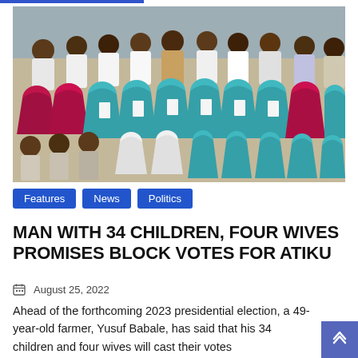[Figure (photo): Group photo of a large family — men seated in back rows in traditional Nigerian attire, women and girls in teal/turquoise hijabs in the middle rows holding cards, and young children seated in front]
Features
News
Politics
MAN WITH 34 CHILDREN, FOUR WIVES PROMISES BLOCK VOTES FOR ATIKU
August 25, 2022
Ahead of the forthcoming 2023 presidential election, a 49-year-old farmer, Yusuf Babale, has said that his 34 children and four wives will cast their votes